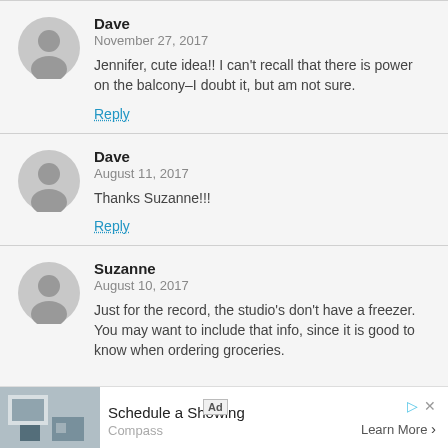Dave
November 27, 2017
Jennifer, cute idea!! I can't recall that there is power on the balcony–I doubt it, but am not sure.
Reply
Dave
August 11, 2017
Thanks Suzanne!!!
Reply
Suzanne
August 10, 2017
Just for the record, the studio's don't have a freezer. You may want to include that info, since it is good to know when ordering groceries.
[Figure (other): Advertisement banner: Schedule a Showing, Compass, Learn More]